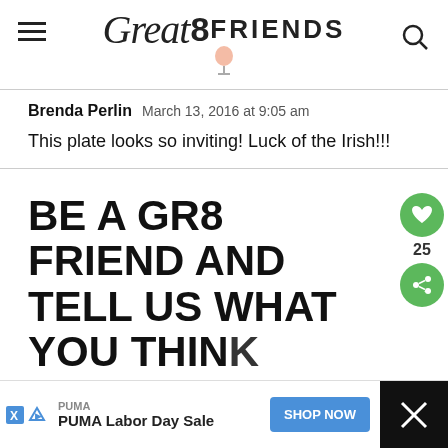Great8 FRIENDS
Brenda Perlin  March 13, 2016 at 9:05 am
This plate looks so inviting! Luck of the Irish!!!
BE A GR8 FRIEND AND TELL US WHAT YOU THINK
[Figure (other): Advertisement bar: PUMA Labor Day Sale with SHOP NOW button and close button]